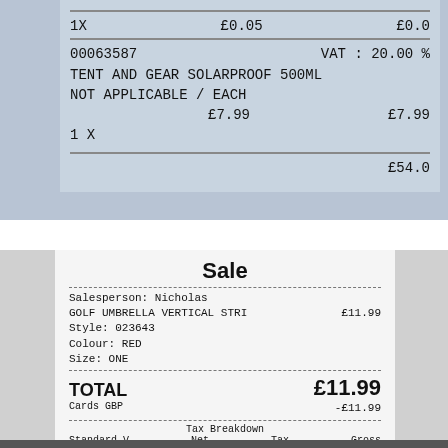[Figure (photo): Top portion of a retail receipt showing item details: 1X £0.05 £0.0, barcode 00063587, VAT: 20.00%, TENT AND GEAR SOLARPROOF 500ML, NOT APPLICABLE / EACH, 1X £7.99 £7.99, Total £54.0?]
[Figure (photo): Photo of a retail receipt showing: Sale, Salesperson: Nicholas, GOLF UMBRELLA VERTICAL STRI £11.99, Style: 023643, Colour: RED, Size: ONE, TOTAL £11.99, Cards GBP -£11.99, Tax Breakdown: Standard V, Net £9.99, Tax £2.00, Gross £11.99, with barcode at bottom]
[Figure (photo): Bottom of image showing dark background with metal grid/rack visible]